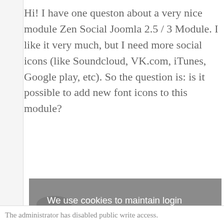Hi! I have one queston about a very nice module Zen Social Joomla 2.5 / 3 Module. I like it very much, but I need more social icons (like Soundcloud, VK.com, iTunes, Google play, etc). So the question is: is it possible to add new font icons to this module?
[Figure (illustration): Illustrated avatar of a person with glasses, dark hair, wearing a collared shirt — a cartoon-style user profile image]
Poster
Free Extensions
5 posts
Karma: 0
We use cookies to maintain login sessions, analytics and to improve your experience on our website. By continuing to use our site, you accept our use of cookies, Terms of Use and Privacy Policy.
I Accept
The administrator has disabled public write access.